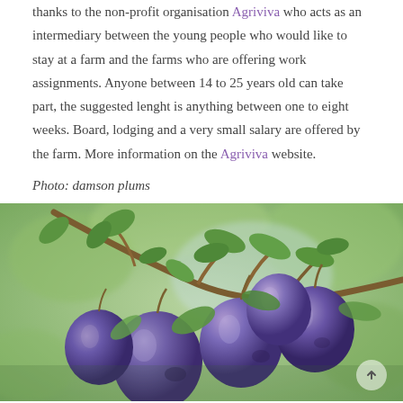thanks to the non-profit organisation Agriviva who acts as an intermediary between the young people who would like to stay at a farm and the farms who are offering work assignments. Anyone between 14 to 25 years old can take part, the suggested lenght is anything between one to eight weeks. Board, lodging and a very small salary are offered by the farm. More information on the Agriviva website.
Photo: damson plums
[Figure (photo): Close-up photograph of damson plums growing on a branch with green leaves. The plums are dark purple-blue in colour, hanging in clusters from a woody branch against a blurred green background.]